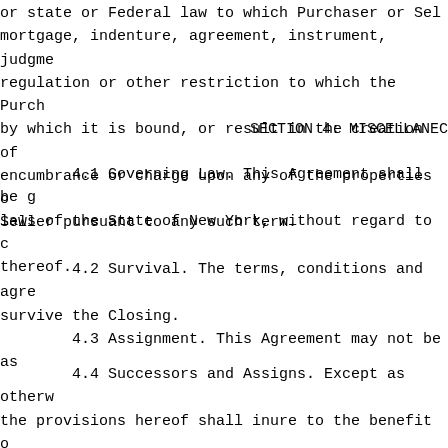or state or Federal law to which Purchaser or Sel mortgage, indenture, agreement, instrument, judgme regulation or other restriction to which the Purch by which it is bound, or result in the creation of encumbrance or charge upon any of the properties o Seller pursuant to any such term.
SECTION 4: MISCELLANEC
4.1 Governing Law. This Agreement shall be g laws of the State of New York, without regard to c thereof.
4.2 Survival. The terms, conditions and agre survive the Closing.
4.3 Assignment. This Agreement may not be as
4.4 Successors and Assigns. Except as otherw the provisions hereof shall inure to the benefit o successors, permitted assigns, heirs, executors an parties hereto.